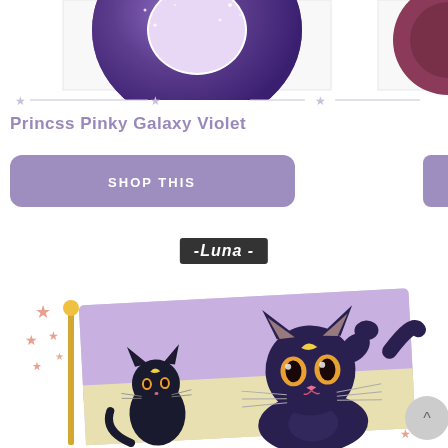[Figure (illustration): Partial view of a purple galaxy donut-shaped contact lens or design, circular with purple nebula and white star patterns on a white background. A partial second item is visible on the right edge.]
Princss Pinky Galaxy Violet
[Figure (screenshot): A purple rounded rectangular 'SHOP THIS' button, with partial second button visible on the right edge of the page.]
-Luna -
[Figure (illustration): An anime-style illustration showing two cartoon black cat characters (Luna from Sailor Moon), one small on the left and a larger one in the center, with a purple and yellow background. Small decorative pink stars are on the left. A gray circular back-to-top arrow button is at the bottom right.]